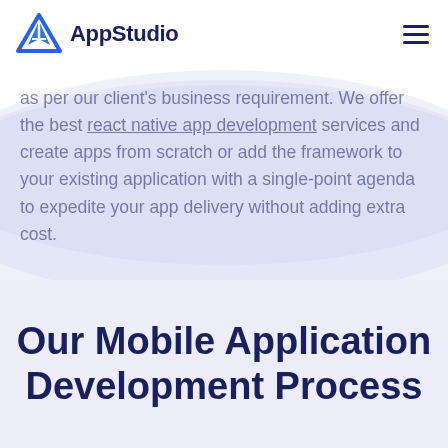AppStudio
as per our client's business requirement. We offer the best react native app development services and create apps from scratch or add the framework to your existing application with a single-point agenda to expedite your app delivery without adding extra cost.
Our Mobile Application Development Process